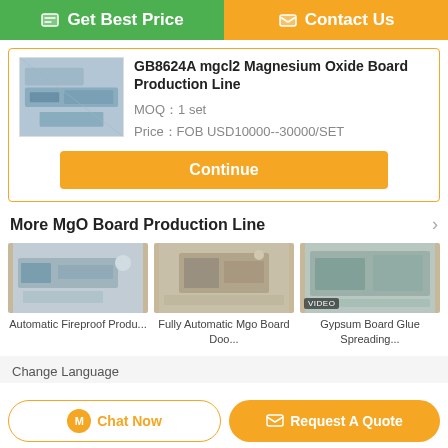[Figure (screenshot): Get Best Price button (green) and Contact Us button (orange) at top of page]
GB8624A mgcl2 Magnesium Oxide Board Production Line
MOQ：1 set
Price：FOB USD10000--30000/SET
[Figure (photo): Photo of magnesium oxide board production line machinery in factory]
Continue
More  MgO Board Production Line
[Figure (photo): Automatic Fireproof Produ... thumbnail]
Automatic Fireproof Produ...
[Figure (photo): Fully Automatic Mgo Board Doo... thumbnail]
Fully Automatic Mgo Board Doo...
[Figure (photo): Gypsum Board Glue Spreading... thumbnail with VIDEO badge]
Gypsum Board Glue Spreading...
Change Language
Chat Now
Request A Quote